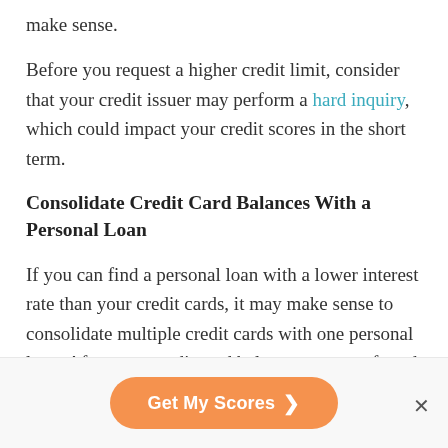make sense.
Before you request a higher credit limit, consider that your credit issuer may perform a hard inquiry, which could impact your credit scores in the short term.
Consolidate Credit Card Balances With a Personal Loan
If you can find a personal loan with a lower interest rate than your credit cards, it may make sense to consolidate multiple credit cards with one personal loan. After your credit card balances are transferred to a personal loan,